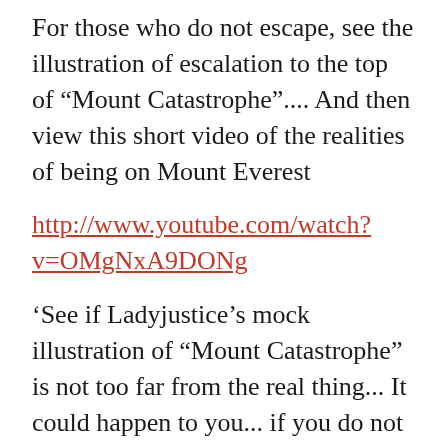For those who do not escape, see the illustration of escalation to the top of “Mount Catastrophe”.... And then view this short video of the realities of being on Mount Everest
http://www.youtube.com/watch?v=OMgNxA9DONg
‘See if Ladyjustice’s mock illustration of “Mount Catastrophe” is not too far from the real thing... It could happen to you... if you do not take sufficient care of your life. Or, in an instant, uncontrollably, you could find